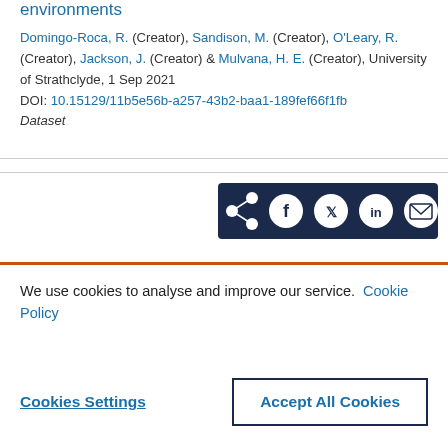environments
Domingo-Roca, R. (Creator), Sandison, M. (Creator), O'Leary, R. (Creator), Jackson, J. (Creator) & Mulvana, H. E. (Creator), University of Strathclyde, 1 Sep 2021
DOI: 10.15129/11b5e56b-a257-43b2-baa1-189fef66f1fb
Dataset
[Figure (other): Social share bar with icons for share, Facebook, Twitter, LinkedIn, and email on a dark navy background]
We use cookies to analyse and improve our service. Cookie Policy
Cookies Settings
Accept All Cookies